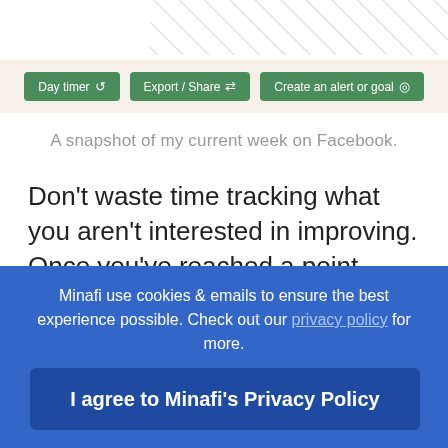[Figure (screenshot): Diagonal hatching lines pattern at the top of the page]
[Figure (screenshot): Three green buttons: Day timer, Export / Share, Create an alert or goal]
A snapshot of my current week on Facebook.
Don't waste time tracking what you aren't interested in improving. Once you've reached a point where you don't think tracking is going to help, it's OK to stop tracking as well. This is just a small sample of things you can track and ways to do it.
Minafi use cookies & emails to ensure the best experience possible. Check out our privacy policy for more.
I agree to Minafi's Privacy Policy